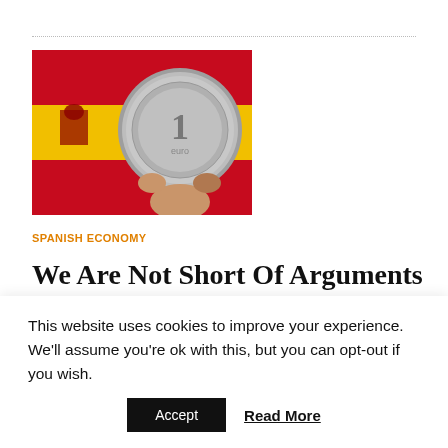[Figure (photo): A hand holding a 1 euro coin against a Spanish flag background (red and yellow).]
SPANISH ECONOMY
We Are Not Short Of Arguments In Spain, Yet Delivery Fails
[Figure (photo): Partially visible image below the dotted divider (cut off).]
This website uses cookies to improve your experience. We'll assume you're ok with this, but you can opt-out if you wish.
Accept   Read More